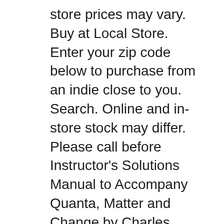store prices may vary. Buy at Local Store. Enter your zip code below to purchase from an indie close to you. Search. Online and in-store stock may differ. Please call before Instructor's Solutions Manual to Accompany Quanta, Matter and Change by Charles Trapp, 9780199559060, available at Book Depository with free delivery worldwide.
Find 9781464108747 Physical Chemistry : Quanta, Matter, and Change 2nd Edition by Atkins et al at over 30 bookstores. Buy, rent or sell. COUPON: Rent Instructor's Solutions Manual to Accompany Quanta, Matter and Change 1st edition (9780199559060) and save up to 80% on textbook rentals and 90%